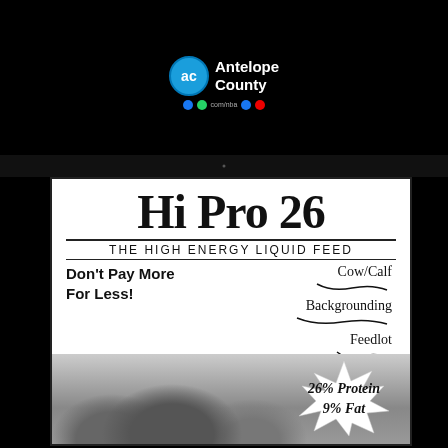Antelope County
Hi Pro 26
THE HIGH ENERGY LIQUID FEED
Don't Pay More For Less!
Cow/Calf
Backgrounding
Feedlot
If you are looking for an alternative to your high-priced liquid feed, just call 402-826-2171.
26% Protein 9% Fat
[Figure (photo): Black and white photo of cattle at the bottom of the advertisement]